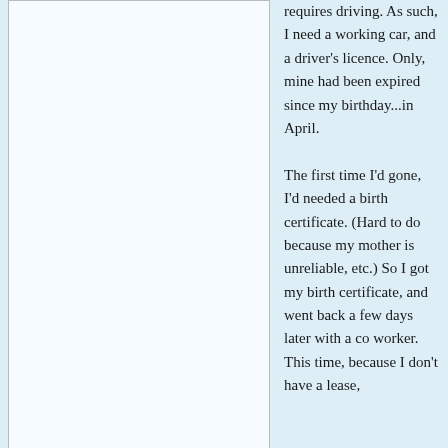[Figure (illustration): A blank/white image placeholder box representing a photo of the author's typical outfit]
In case you've forgotten,
this is what I typically wear
requires driving. As such, I need a working car, and a driver's licence. Only, mine had been expired since my birthday...in April.

The first time I'd gone, I'd needed a birth certificate. (Hard to do because my mother is unreliable, etc.) So I got my birth certificate, and went back a few days later with a co worker. This time, because I don't have a lease, and haven't registered my car to the town I'm living in, and all my mail goes to my PO Box, I don't exist as a person....so I was rejected again and handed affidavits for people to fill out stating that I do, in fact, live in Maine.

Finally, at my third time at the DMV, I got my picture taken, proved my vision is worthless without my glasses or contacts, and boom! I now have a temporary licence while I wait for mine to